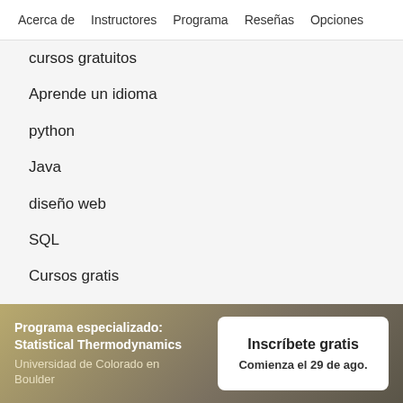Acerca de   Instructores   Programa   Reseñas   Opciones
cursos gratuitos
Aprende un idioma
python
Java
diseño web
SQL
Cursos gratis
Microsoft Excel
Administración de proyectos
seguridad cibernética
Programa especializado: Statistical Thermodynamics
Universidad de Colorado en Boulder
Inscríbete gratis
Comienza el 29 de ago.